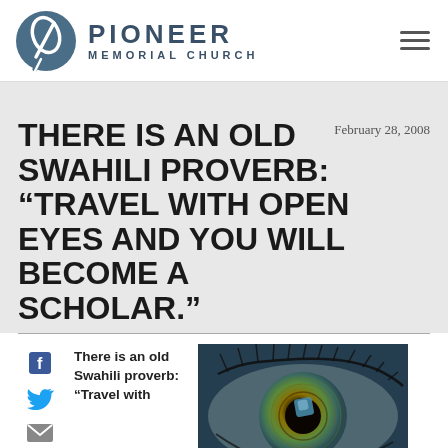[Figure (logo): Pioneer Memorial Church logo with circle emblem and church name]
THERE IS AN OLD SWAHILI PROVERB: “TRAVEL WITH OPEN EYES AND YOU WILL BECOME A SCHOLAR.”
February 28, 2008
There is an old Swahili proverb: “Travel with
[Figure (photo): Close-up macro photograph of a human eye with green and gold iris, eyelashes visible, blue reflection in pupil]